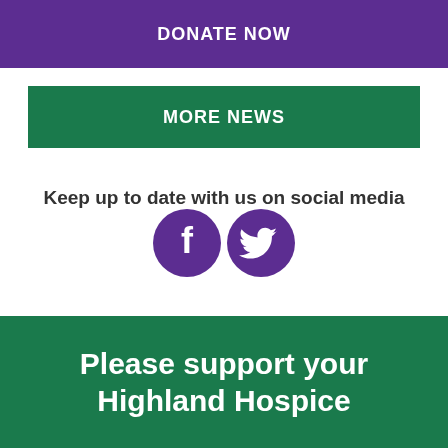DONATE NOW
MORE NEWS
Keep up to date with us on social media
[Figure (illustration): Facebook and Twitter social media icons as purple circles with white logos side by side]
Please support your Highland Hospice